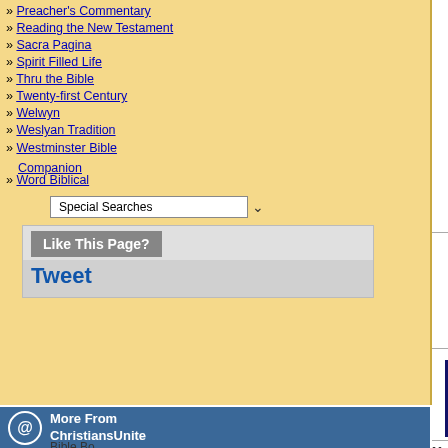» Preacher's Commentary
» Reading the New Testament
» Sacra Pagina
» Spirit Filled Life
» Thru the Bible
» Twenty-first Century
» Welwyn
» Weslyan Tradition
» Westminster Bible Companion
» Word Biblical
Special Searches (dropdown)
Like This Page?
Tweet
Author: William Baker
Our Price: $14.49
MORE INFORMATION
Our Price: $14.46
MORE INFORMATION
Spo...
Looking for a Bible'...
[Figure (screenshot): Small robot/character icon on right side]
As God parted the Red Sea, what di...
His cloak   His hand   O ...
ChristiansUnite.com   The G...
More From ChristiansUnite...   About Us | Christian Adve...
This Page | ChristiansUnite...
Copyright © 1999-2019 Chr...
Please send your questions...
More From ChristiansUnite
Bible Bo...